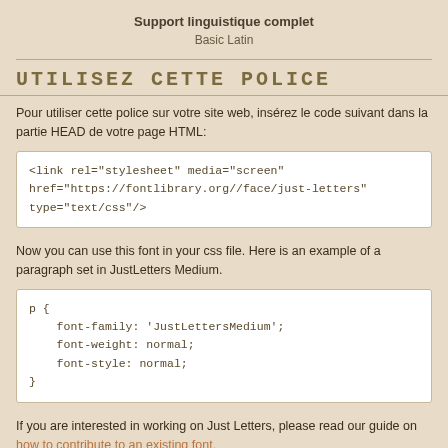Support linguistique complet
Basic Latin
UTILISEZ CETTE POLICE
Pour utiliser cette police sur votre site web, insérez le code suivant dans la partie HEAD de votre page HTML:
<link rel="stylesheet" media="screen"
href="https://fontlibrary.org//face/just-letters"
type="text/css"/>
Now you can use this font in your css file. Here is an example of a paragraph set in JustLetters Medium.
p {
    font-family: 'JustLettersMedium';
    font-weight: normal;
    font-style: normal;
}
If you are interested in working on Just Letters, please read our guide on how to contribute to an existing font.